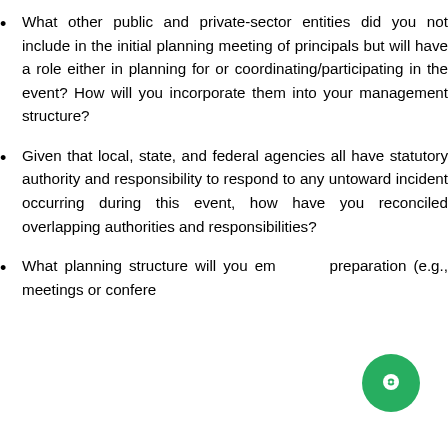What other public and private-sector entities did you not include in the initial planning meeting of principals but will have a role either in planning for or coordinating/participating in the event? How will you incorporate them into your management structure?
Given that local, state, and federal agencies all have statutory authority and responsibility to respond to any untoward incident occurring during this event, how have you reconciled overlapping authorities and responsibilities?
What planning structure will you em... preparation (e.g., meetings or conference...